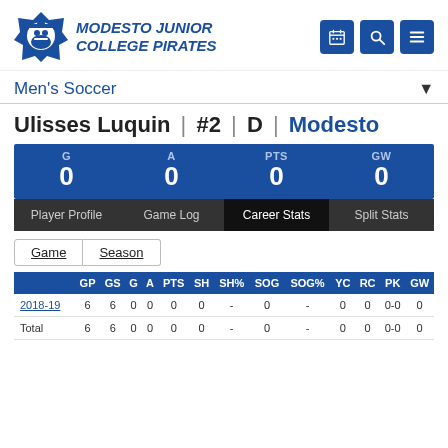[Figure (logo): Modesto Junior College Pirates logo - pirate mascot in blue star/badge shape]
MODESTO JUNIOR COLLEGE PIRATES
Men's Soccer
Ulisses Luquin | #2 | D | Modesto
| G | A | PTS | GW |
| --- | --- | --- | --- |
| 0 | 0 | 0 | 0 |
Player Profile | Game Log | Career Stats | Split Stats
Game | Season
|  | GP | GS | G | A | PTS | SH | SH% | SOG | SOG% | YC | RC | PK | GW |
| --- | --- | --- | --- | --- | --- | --- | --- | --- | --- | --- | --- | --- | --- |
| 2018-19 | 6 | 6 | 0 | 0 | 0 | 0 | - | 0 | - | 0 | 0 | 0-0 | 0 |
| Total | 6 | 6 | 0 | 0 | 0 | 0 | - | 0 | - | 0 | 0 | 0-0 | 0 |